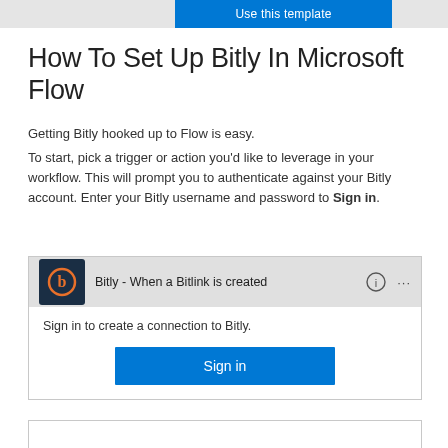[Figure (screenshot): Blue 'Use this template' button at top of page with gray bars on either side]
How To Set Up Bitly In Microsoft Flow
Getting Bitly hooked up to Flow is easy.
To start, pick a trigger or action you'd like to leverage in your workflow. This will prompt you to authenticate against your Bitly account. Enter your Bitly username and password to Sign in.
[Figure (screenshot): Microsoft Flow UI showing Bitly - When a Bitlink is created trigger card with Sign in button to create a connection to Bitly]